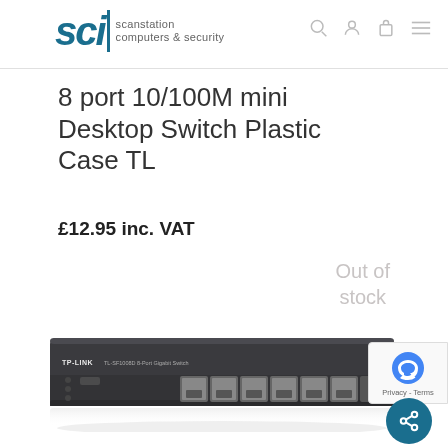SCI scanstation computers & security
8 port 10/100M mini Desktop Switch Plastic Case TL
£12.95 inc. VAT
Out of stock
[Figure (photo): TP-Link 8-port 10/100M mini desktop network switch with dark gray metal chassis, 8 RJ45 Ethernet ports on the front panel, product model visible on the face.]